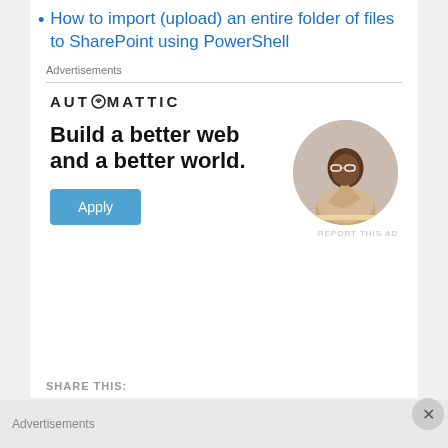How to import (upload) an entire folder of files to SharePoint using PowerShell
Advertisements
[Figure (infographic): Automattic advertisement: logo with gear icon 'O', headline 'Build a better web and a better world.', Apply button, circular photo of a man thinking at a desk]
REPORT THIS AD
SHARE THIS:
Advertisements